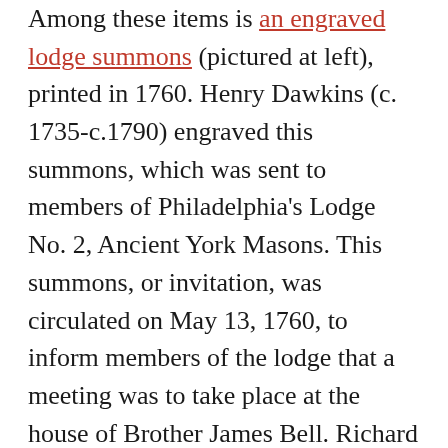Among these items is an engraved lodge summons (pictured at left), printed in 1760. Henry Dawkins (c. 1735-c.1790) engraved this summons, which was sent to members of Philadelphia's Lodge No. 2, Ancient York Masons. This summons, or invitation, was circulated on May 13, 1760, to inform members of the lodge that a meeting was to take place at the house of Brother James Bell. Richard McNeall, who had been appointed Secretary of the lodge at its March 11, 1760 meeting, signed the summons in the lower left hand corner.
Dawkins, who engraved the summons, was a Freemason who was raised in Philadelphia's Lodge No. 1, Ancient York Masons, on September 11, 1759. The following year, Lodge No. 1 was renumbered to Lodge No. 2 and, at